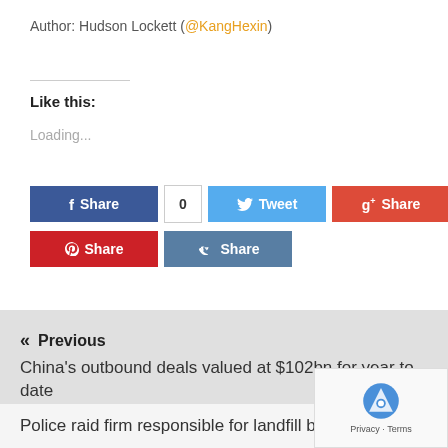Author: Hudson Lockett (@KangHexin)
Like this:
Loading...
[Figure (screenshot): Social share buttons: Facebook Share with count 0, Tweet, Google+ Share, LinkedIn Share, Pinterest Share, VK Share]
« Previous
China's outbound deals valued at $102bn for year to date
Police raid firm responsible for landfill behind Sh...
[Figure (logo): reCAPTCHA badge with Privacy and Terms]